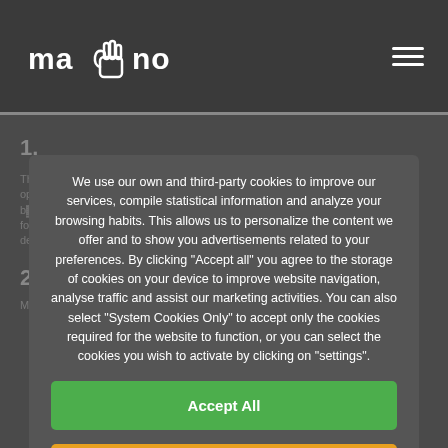mano — navigation header with logo and hamburger menu
We use our own and third-party cookies to improve our services, compile statistical information and analyze your browsing habits. This allows us to personalize the content we offer and to show you advertisements related to your preferences. By clicking "Accept all" you agree to the storage of cookies on your device to improve website navigation, analyse traffic and assist our marketing activities. You can also select "System Cookies Only" to accept only the cookies required for the website to function, or you can select the cookies you wish to activate by clicking on "settings".
Accept All
Only sistem cookies
Configuration